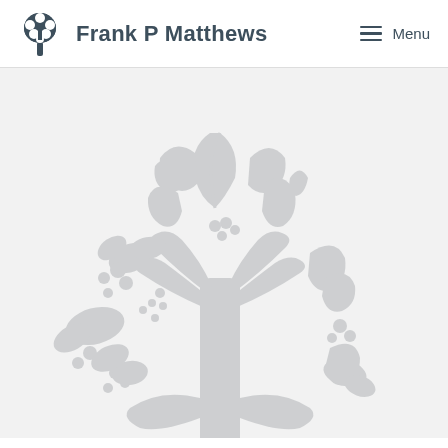Frank P Matthews — Menu
[Figure (logo): Large light grey decorative tree logo/watermark centered on a light grey background, matching the Frank P Matthews brand tree icon]